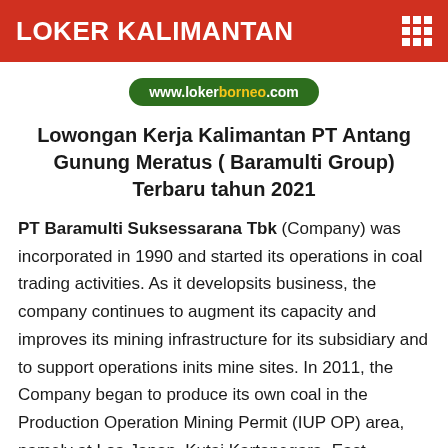LOKER KALIMANTAN
[Figure (logo): www.lokerborneo.com URL badge with green pill background, 'borneo' in yellow]
Lowongan Kerja Kalimantan PT Antang Gunung Meratus ( Baramulti Group) Terbaru tahun 2021
PT Baramulti Suksessarana Tbk (Company) was incorporated in 1990 and started its operations in coal trading activities. As it developsits business, the company continues to augment its capacity and improves its mining infrastructure for its subsidiary and to support operations inits mine sites. In 2011, the Company began to produce its own coal in the Production Operation Mining Permit (IUP OP) area, namely at Loa Janan, Kutai Kartanegara, East